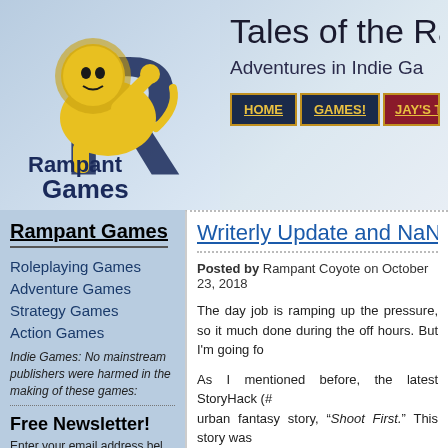[Figure (logo): Rampant Games logo with yellow lion rearing up against blue stylized letters, with text 'Rampant Games' below]
Tales of the Ra...
Adventures in Indie Ga...
HOME
GAMES!
JAY'S T...
Rampant Games
Roleplaying Games
Adventure Games
Strategy Games
Action Games
Indie Games: No mainstream publishers were harmed in the making of these games:
Free Newsletter!
Enter your email address bel...
Writerly Update and NaN...
Posted by Rampant Coyote on October 23, 2018
The day job is ramping up the pressure, so it... much done during the off hours. But I'm going fo...
As I mentioned before, the latest StoryHack (#... urban fantasy story, “Shoot First.” This story was... it features the protagonist from “Dead Last,” in... and further information can be found at StoryHa...